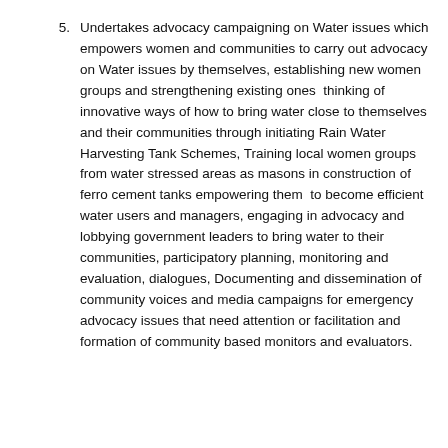5. Undertakes advocacy campaigning on Water issues which empowers women and communities to carry out advocacy on Water issues by themselves, establishing new women groups and strengthening existing ones  thinking of innovative ways of how to bring water close to themselves and their communities through initiating Rain Water Harvesting Tank Schemes, Training local women groups from water stressed areas as masons in construction of ferro cement tanks empowering them  to become efficient water users and managers, engaging in advocacy and lobbying government leaders to bring water to their communities, participatory planning, monitoring and evaluation, dialogues, Documenting and dissemination of community voices and media campaigns for emergency advocacy issues that need attention or facilitation and formation of community based monitors and evaluators.